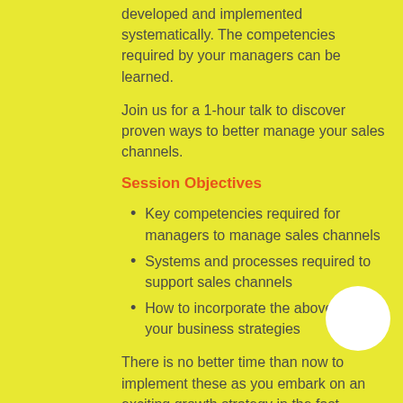developed and implemented systematically. The competencies required by your managers can be learned.
Join us for a 1-hour talk to discover proven ways to better manage your sales channels.
Session Objectives
Key competencies required for managers to manage sales channels
Systems and processes required to support sales channels
How to incorporate the above into your business strategies
There is no better time than now to implement these as you embark on an exciting growth strategy in the fast-growing and challenging econom
Who Should Attend